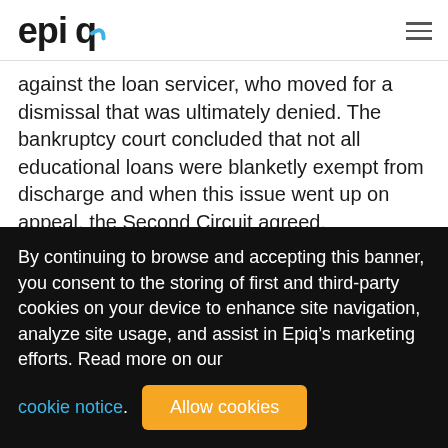epiq [logo]
against the loan servicer, who moved for a dismissal that was ultimately denied. The bankruptcy court concluded that not all educational loans were blanketly exempt from discharge and when this issue went up on appeal, the Second Circuit agreed.
The court found that deeming the term “education
By continuing to browse and accepting this banner, you consent to the storing of first and third-party cookies on your device to enhance site navigation, analyze site usage, and assist in Epiq’s marketing efforts. Read more on our cookie notice. Allow cookies